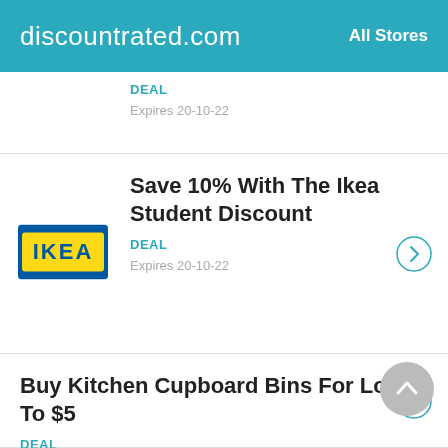discountrated.com  All Stores
DEAL
Expires 20-10-22
Save 10% With The Ikea Student Discount
DEAL
Expires 20-10-22
Buy Kitchen Cupboard Bins For Low To $5
DEAL
Expires 20-10-22